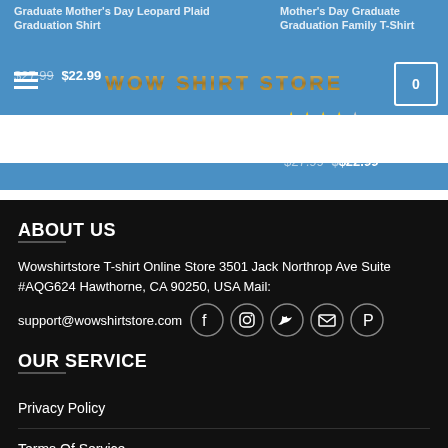Graduate Mother's Day Leopard Plaid Graduation Shirt
Mother's Day Graduate Graduation Family T-Shirt
WOW SHIRT STORE
$27.99 $22.99
ABOUT US
Wowshirtstore T-shirt Online Store 3501 Jack Northrop Ave Suite #AQG624 Hawthorne, CA 90250, USA Mail:
support@wowshirtstore.com
OUR SERVICE
Privacy Policy
Terms Of Service